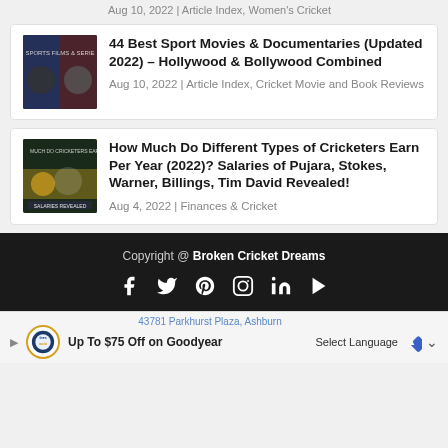Aug 10, 2022 | Article Index, Women's Cricket
44 Best Sport Movies & Documentaries (Updated 2022) – Hollywood & Bollywood Combined
Aug 10, 2022 | Article Index, Cricket Movie and Book Reviews
How Much Do Different Types of Cricketers Earn Per Year (2022)? Salaries of Pujara, Stokes, Warner, Billings, Tim David Revealed!
Aug 4, 2022 | Finances & Cricket
Copyright @ Broken Cricket Dreams
[Figure (screenshot): Advertisement bar with Tires auto logo, Up To $75 Off on Goodyear, address 43781 Parkhurst Plaza, Ashburn, Select Language dropdown]